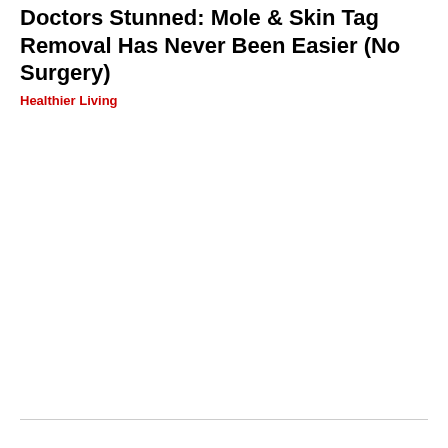Doctors Stunned: Mole & Skin Tag Removal Has Never Been Easier (No Surgery)
Healthier Living
[Figure (photo): Large blank white image area below the article title and source line, bounded by horizontal divider lines at top and bottom]